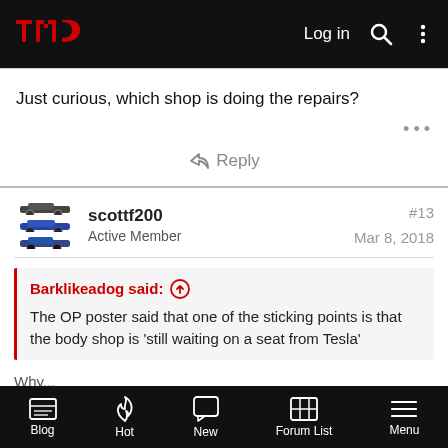TMC — Log in
Just curious, which shop is doing the repairs?
Reply
scottf200
Active Member
#13
Mar 8, 2018
Barklikeadog said:
The OP poster said that one of the sticking points is that the body shop is 'still waiting on a seat from Tesla'
Why...
Blog  Hot  New  Forum List  Menu